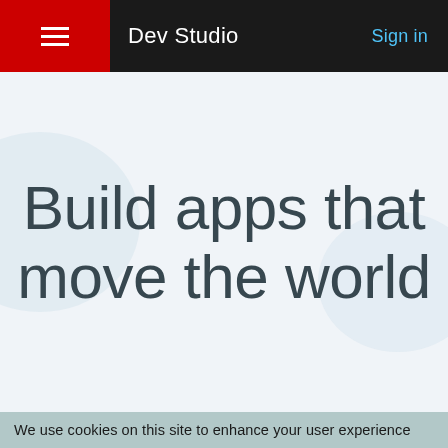Dev Studio   Sign in
Build apps that move the world
We use cookies on this site to enhance your user experience